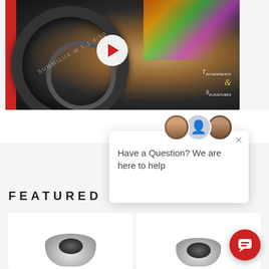[Figure (photo): Close-up photo of a camera lens with red background, play button overlay in center, and 'Thumbprints & Signatures' text in bottom right corner]
[Figure (screenshot): Chat popup widget with two user avatars, close button (X), and text 'Have a Question? We are here to help']
Have a Question? We are here to help
FEATURED P
[Figure (photo): Two product card thumbnails showing camera lenses, with a red chat bubble button in the bottom right corner]